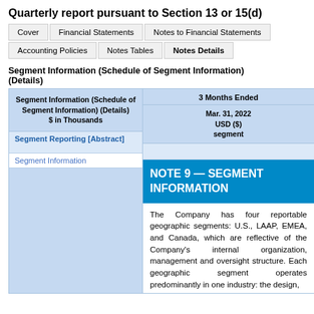Quarterly report pursuant to Section 13 or 15(d)
Cover | Financial Statements | Notes to Financial Statements | Accounting Policies | Notes Tables | Notes Details
Segment Information (Schedule of Segment Information) (Details)
| Segment Information (Schedule of Segment Information) (Details) $ in Thousands | 3 Months Ended Mar. 31, 2022 USD ($) segment |
| --- | --- |
| Segment Reporting [Abstract] |  |
| Segment Information | NOTE 9 — SEGMENT INFORMATION
The Company has four reportable geographic segments: U.S., LAAP, EMEA, and Canada, which are reflective of the Company's internal organization, management and oversight structure. Each geographic segment operates predominantly in one industry: the design, |